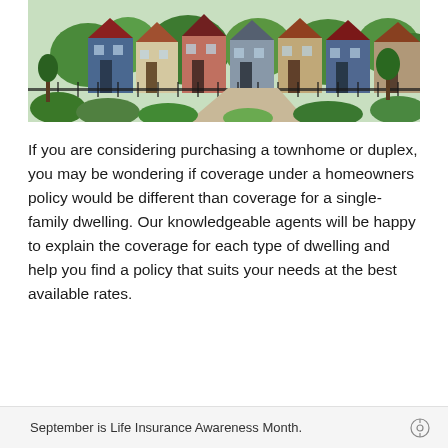[Figure (photo): Photograph of a row of colorful townhomes with a tree-lined walkway and landscaped garden in the foreground]
If you are considering purchasing a townhome or duplex, you may be wondering if coverage under a homeowners policy would be different than coverage for a single-family dwelling. Our knowledgeable agents will be happy to explain the coverage for each type of dwelling and help you find a policy that suits your needs at the best available rates.
September is Life Insurance Awareness Month.